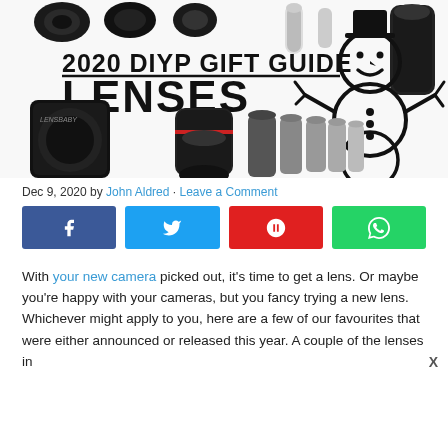[Figure (photo): Hero banner image for 2020 DIYP Gift Guide: Lenses. Shows multiple camera lenses arranged around bold text '2020 DIYP GIFT GUIDE LENSES' with a snowman illustration on a white background.]
Dec 9, 2020 by John Aldred · Leave a Comment
[Figure (infographic): Social share buttons row: Facebook (dark blue, f icon), Twitter (light blue, bird icon), Flipboard (red, F icon), WhatsApp (green, phone icon)]
With your new camera picked out, it's time to get a lens. Or maybe you're happy with your cameras, but you fancy trying a new lens. Whichever might apply to you, here are a few of our favourites that were either announced or released this year. A couple of the lenses in